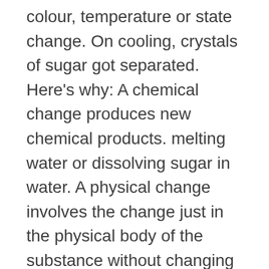colour, temperature or state change. On cooling, crystals of sugar got separated. Here's why: A chemical change produces new chemical products. melting water or dissolving sugar in water. A physical change involves the change just in the physical body of the substance without changing its composition. Log in. When sugar is dissolved, the molecules disperse throughout the water, but they don't change their chemical identity. physical: notice the sweetness of the sugar is still there and the sugar molceules can be recovered by evaporating the water (same for salt). Apr 6, 2018 DTN Staff. sugar dissolve in water chemical or physical blood pressure ( is characterized as) | sugar